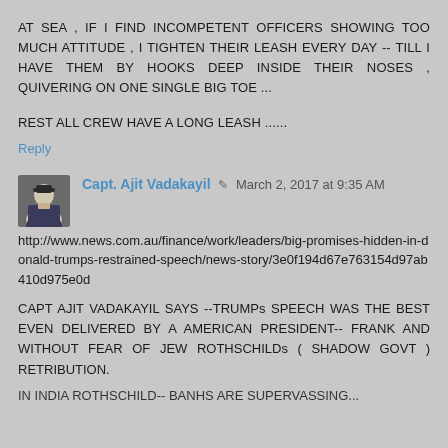AT SEA , IF I FIND INCOMPETENT OFFICERS SHOWING TOO MUCH ATTITUDE , I TIGHTEN THEIR LEASH EVERY DAY -- TILL I HAVE THEM BY HOOKS DEEP INSIDE THEIR NOSES , QUIVERING ON ONE SINGLE BIG TOE ...
REST ALL CREW HAVE A LONG LEASH ......
Reply
Capt. Ajit Vadakayil   March 2, 2017 at 9:35 AM
http://www.news.com.au/finance/work/leaders/big-promises-hidden-in-donald-trumps-restrained-speech/news-story/3e0f194d67e763154d97ab410d975e0d
CAPT AJIT VADAKAYIL SAYS --TRUMPs SPEECH WAS THE BEST EVEN DELIVERED BY A AMERICAN PRESIDENT-- FRANK AND WITHOUT FEAR OF JEW ROTHSCHILDs ( SHADOW GOVT ) RETRIBUTION.
IN INDIA ROTHSCHILD-- BANHS ARE SUPERVASSING...